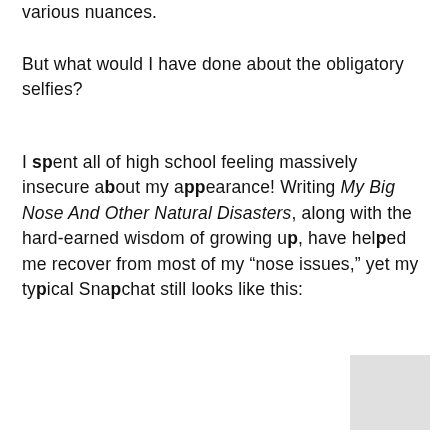various nuances.
But what would I have done about the obligatory selfies?
I spent all of high school feeling massively insecure about my appearance! Writing My Big Nose And Other Natural Disasters, along with the hard-earned wisdom of growing up, have helped me recover from most of my “nose issues,” yet my typical Snapchat still looks like this:
[Figure (photo): A small grey/white square image in the bottom-right corner, partially visible, likely a photo placeholder.]